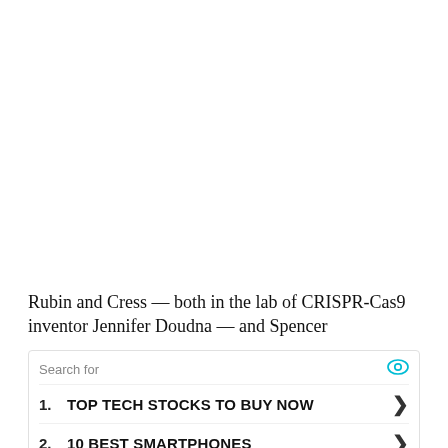Rubin and Cress — both in the lab of CRISPR-Cas9 inventor Jennifer Doudna — and Spencer
Search for
1. TOP TECH STOCKS TO BUY NOW
2. 10 BEST SMARTPHONES
Ad | Cellphone Guru